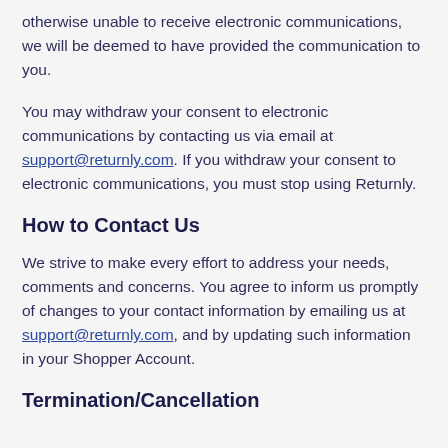otherwise unable to receive electronic communications, we will be deemed to have provided the communication to you.
You may withdraw your consent to electronic communications by contacting us via email at support@returnly.com. If you withdraw your consent to electronic communications, you must stop using Returnly.
How to Contact Us
We strive to make every effort to address your needs, comments and concerns. You agree to inform us promptly of changes to your contact information by emailing us at support@returnly.com, and by updating such information in your Shopper Account.
Termination/Cancellation